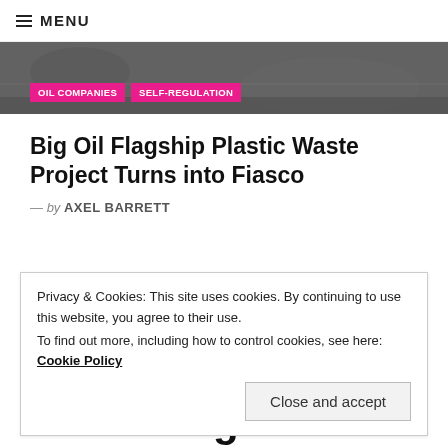≡ MENU
[Figure (photo): Grayscale aerial/landscape photo used as hero banner with two pink category tags: OIL COMPANIES and SELF-REGULATION]
Big Oil Flagship Plastic Waste Project Turns into Fiasco
— by AXEL BARRETT
Privacy & Cookies: This site uses cookies. By continuing to use this website, you agree to their use.
To find out more, including how to control cookies, see here: Cookie Policy
Close and accept
[Figure (logo): Cargill logo with green swoosh and black bold text]